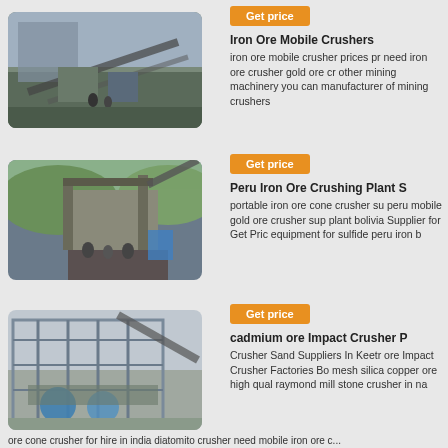[Figure (photo): Industrial mining mobile crusher equipment on a construction site with workers and conveyor belts]
Iron Ore Mobile Crushers
iron ore mobile crusher prices pr need iron ore crusher gold ore cr other mining machinery you can manufacturer of mining crushers
[Figure (photo): Large iron ore crushing plant setup in Peru with machinery and workers]
Get price
Peru Iron Ore Crushing Plant S
portable iron ore cone crusher su peru mobile gold ore crusher sup plant bolivia Supplier for Get Pric equipment for sulfide peru iron b
[Figure (photo): Industrial cadmium ore impact crusher facility with steel structure framework and processing machinery]
Get price
cadmium ore Impact Crusher P
Crusher Sand Suppliers In Keetr ore Impact Crusher Factories Bo mesh silica copper ore high qual raymond mill stone crusher in na
ore cone crusher for hire in india diatomito crusher need mobile iron ore c...